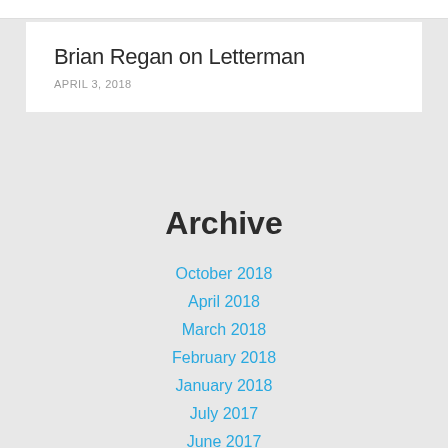Brian Regan on Letterman
APRIL 3, 2018
Archive
October 2018
April 2018
March 2018
February 2018
January 2018
July 2017
June 2017
April 2017
March 2017
February 2017